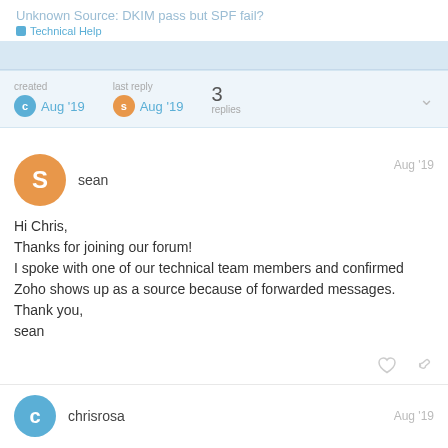Unknown Source: DKIM pass but SPF fail?
Technical Help
created C Aug '19   last reply S Aug '19   3 replies
sean   Aug '19
Hi Chris,
Thanks for joining our forum!
I spoke with one of our technical team members and confirmed Zoho shows up as a source because of forwarded messages.
Thank you,
sean
chrisrosa   Aug '19